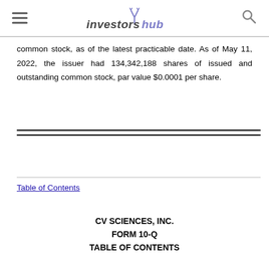InvestorsHub
common stock, as of the latest practicable date. As of May 11, 2022, the issuer had 134,342,188 shares of issued and outstanding common stock, par value $0.0001 per share.
Table of Contents
CV SCIENCES, INC.
FORM 10-Q
TABLE OF CONTENTS